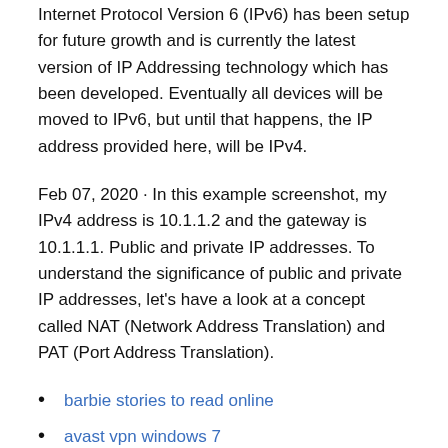Internet Protocol Version 6 (IPv6) has been setup for future growth and is currently the latest version of IP Addressing technology which has been developed. Eventually all devices will be moved to IPv6, but until that happens, the IP address provided here, will be IPv4.
Feb 07, 2020 · In this example screenshot, my IPv4 address is 10.1.1.2 and the gateway is 10.1.1.1. Public and private IP addresses. To understand the significance of public and private IP addresses, let's have a look at a concept called NAT (Network Address Translation) and PAT (Port Address Translation).
barbie stories to read online
avast vpn windows 7
how to clear app history
speed test dallas
connexion mcafee safe connect